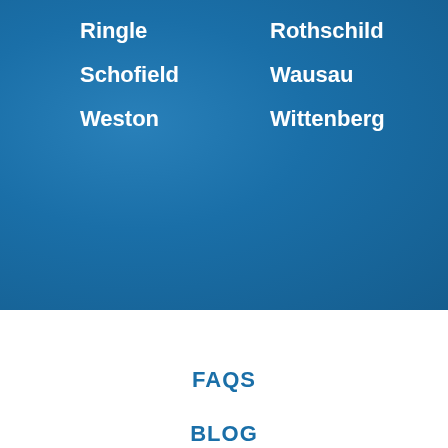Ringle
Rothschild
Schofield
Wausau
Weston
Wittenberg
FAQS
BLOG
CONTACT
About Gilray Heating and Cooling
At Gilray Heating and Cooling, making your home cozy is our top concern. That's why we supply lasting HVAC